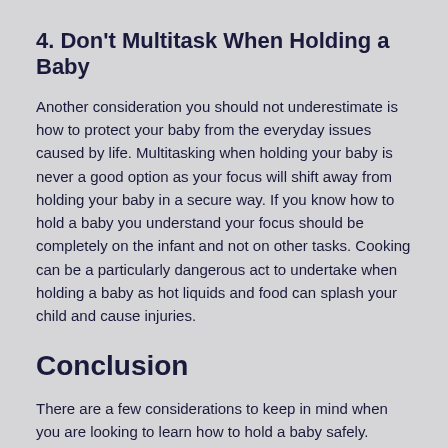4. Don't Multitask When Holding a Baby
Another consideration you should not underestimate is how to protect your baby from the everyday issues caused by life. Multitasking when holding your baby is never a good option as your focus will shift away from holding your baby in a secure way. If you know how to hold a baby you understand your focus should be completely on the infant and not on other tasks. Cooking can be a particularly dangerous act to undertake when holding a baby as hot liquids and food can splash your child and cause injuries.
Conclusion
There are a few considerations to keep in mind when you are looking to learn how to hold a baby safely.
No matter how old your child is you should always be sure you know how to safely hold a baby of their age.